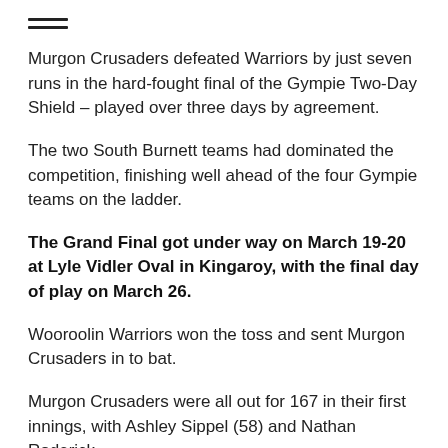≡
Murgon Crusaders defeated Warriors by just seven runs in the hard-fought final of the Gympie Two-Day Shield – played over three days by agreement.
The two South Burnett teams had dominated the competition, finishing well ahead of the four Gympie teams on the ladder.
The Grand Final got under way on March 19-20 at Lyle Vidler Oval in Kingaroy, with the final day of play on March 26.
Wooroolin Warriors won the toss and sent Murgon Crusaders in to bat.
Murgon Crusaders were all out for 167 in their first innings, with Ashley Sippel (58) and Nathan Roderick